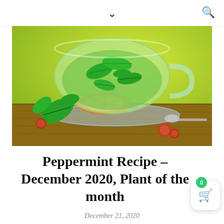chevron down, search icon
[Figure (photo): A glass cup of peppermint tea with fresh green mint leaves floating in it, placed on a glass saucer with a spoon. An orange slice is visible beneath the cup. Fresh mint sprigs and small dried rose hips are arranged on a wooden surface around the cup. Background is a bright yellow-green.]
Peppermint Recipe – December 2020, Plant of the month
December 21, 2020